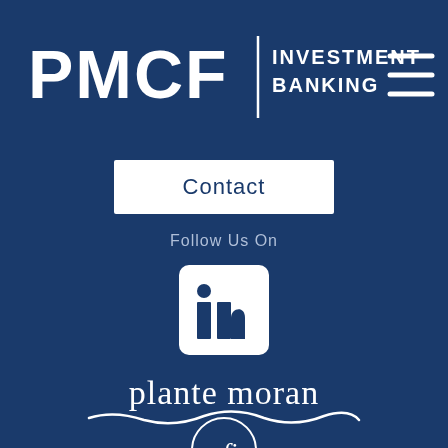[Figure (logo): PMCF Investment Banking logo in white on dark blue background, with hamburger menu icon top right]
[Figure (other): White Contact button/box in center of page]
Follow Us On
[Figure (logo): LinkedIn icon in white on dark blue rounded square]
[Figure (logo): Plante Moran logo in white text with decorative underline]
[Figure (logo): CFI logo in circle outline in white]